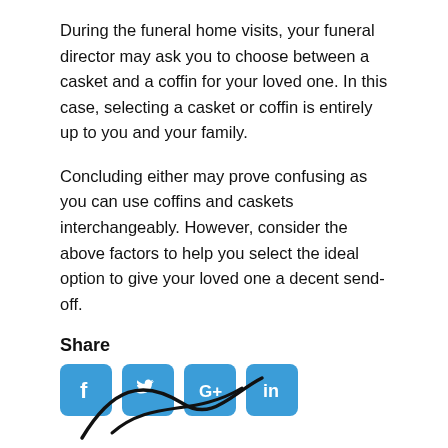During the funeral home visits, your funeral director may ask you to choose between a casket and a coffin for your loved one. In this case, selecting a casket or coffin is entirely up to you and your family.
Concluding either may prove confusing as you can use coffins and caskets interchangeably. However, consider the above factors to help you select the ideal option to give your loved one a decent send-off.
Share
[Figure (infographic): Social media share buttons: Facebook, Twitter, Google+, LinkedIn — blue rounded square icons]
About Me
[Figure (illustration): Partial signature or decorative swoosh illustration at bottom of page]